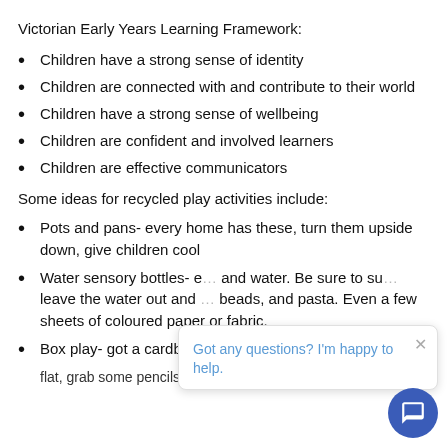Victorian Early Years Learning Framework:
Children have a strong sense of identity
Children are connected with and contribute to their world
Children have a strong sense of wellbeing
Children are confident and involved learners
Children are effective communicators
Some ideas for recycled play activities include:
Pots and pans- every home has these, turn them upside down, give children cool [obscured]
Water sensory bottles- [obscured] and water. Be sure to su[obscured] leave the water out and [obscured] beads, and pasta. Even a few sheets of coloured paper or fabric.
Box play- got a cardboard box lying around. Open is [obscured]
flat, grab some pencils and you and your child can lay on [obscured]